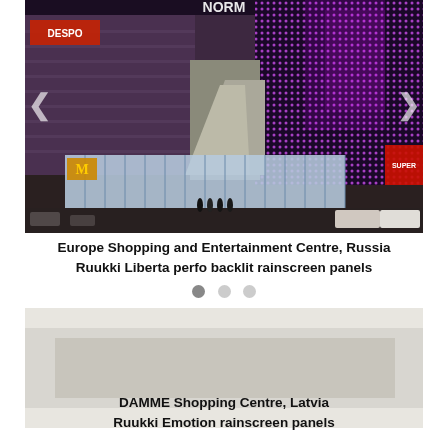[Figure (photo): Nighttime exterior photo of Europe Shopping and Entertainment Centre in Russia, showing a large modern shopping center with illuminated purple/pink LED facade panels, backlit perforated rainscreen cladding, a McDonald's entrance, cars in foreground, and branded signage including DESPO and NORM.]
Europe Shopping and Entertainment Centre, Russia
Ruukki Liberta perfo backlit rainscreen panels
[Figure (photo): Exterior photo of DAMME Shopping Centre in Latvia featuring Ruukki Emotion rainscreen panels on the facade.]
DAMME Shopping Centre, Latvia
Ruukki Emotion rainscreen panels